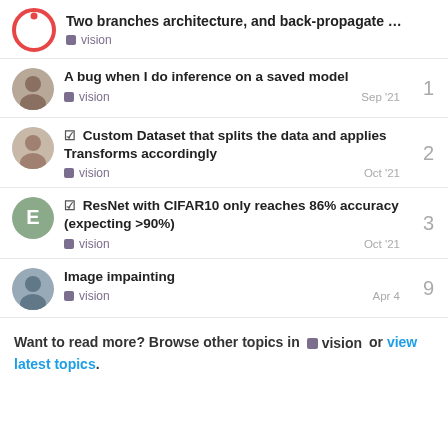Two branches architecture, and back-propagate ... vision
A bug when I do inference on a saved model — vision — Sep '21 — 1
✓ Custom Dataset that splits the data and applies Transforms accordingly — vision — Oct '21 — 2
✓ ResNet with CIFAR10 only reaches 86% accuracy (expecting >90%) — vision — Oct '21 — 3
Image impainting — vision — Apr 4 — 9
Want to read more? Browse other topics in vision or view latest topics.